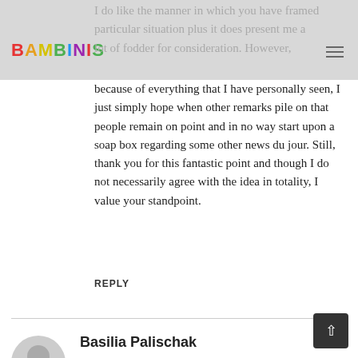BAMBINIS
I do like the manner in which you have framed particular situation plus it does present me a lot of fodder for consideration. However, because of everything that I have personally seen, I just simply hope when other remarks pile on that people remain on point and in no way start upon a soap box regarding some other news du jour. Still, thank you for this fantastic point and though I do not necessarily agree with the idea in totality, I value your standpoint.
REPLY
Basilia Palischak
MARCH 2, 2011 AT 4:16 PM
You actually make it seem so easy with your presentation but I find this matter to be really something that I think I would never understand